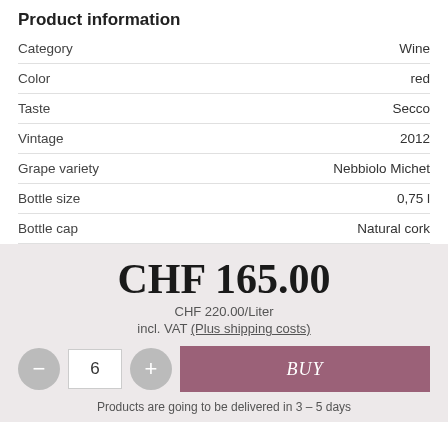Product information
|  |  |
| --- | --- |
| Category | Wine |
| Color | red |
| Taste | Secco |
| Vintage | 2012 |
| Grape variety | Nebbiolo Michet |
| Bottle size | 0,75 l |
| Bottle cap | Natural cork |
CHF 165.00
CHF 220.00/Liter
incl. VAT (Plus shipping costs)
6
BUY
Products are going to be delivered in 3 – 5 days